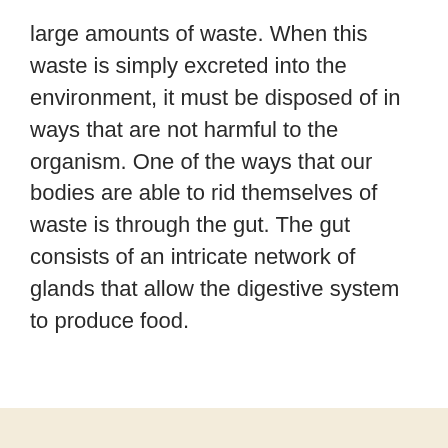large amounts of waste. When this waste is simply excreted into the environment, it must be disposed of in ways that are not harmful to the organism. One of the ways that our bodies are able to rid themselves of waste is through the gut. The gut consists of an intricate network of glands that allow the digestive system to produce food.